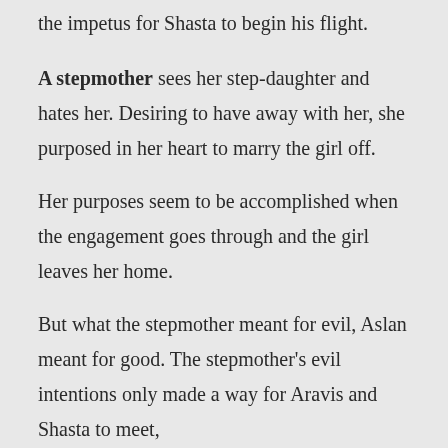the impetus for Shasta to begin his flight.
A stepmother sees her step-daughter and hates her. Desiring to have away with her, she purposed in her heart to marry the girl off.
Her purposes seem to be accomplished when the engagement goes through and the girl leaves her home.
But what the stepmother meant for evil, Aslan meant for good. The stepmother's evil intentions only made a way for Aravis and Shasta to meet,